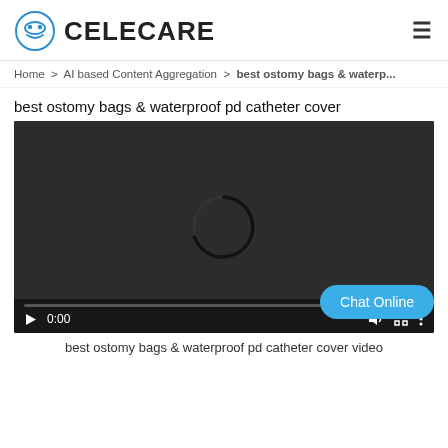[Figure (logo): Celecare logo with circular face icon wearing glasses and a smile, blue outline, with bold text CELECARE]
Home  >  AI based Content Aggregation  >  best ostomy bags & waterp...
best ostomy bags & waterproof pd catheter cover
[Figure (screenshot): Video player with dark background showing a loading spinner arc, controls bar at bottom with play button, 0:00 timestamp, volume, fullscreen, and more options icons]
best ostomy bags & waterproof pd catheter cover video